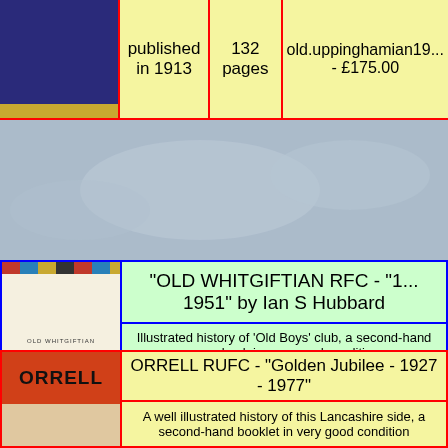| Image | Published | Pages | Reference/Price |
| --- | --- | --- | --- |
| [book cover - dark blue] | published in 1913 | 132 pages | old.uppinghamian19... - £175.00 |
[Figure (photo): Background photo of rugby balls, blurred, grey-blue tones]
| Image | Title/Description | Published | Pages | Reference/Price |
| --- | --- | --- | --- | --- |
| [Old Whitgiftian RFC book cover] | "OLD WHITGIFTIAN RFC - "1... 1951" by Ian S Hubbard |  |  |  |
|  | Illustrated history of 'Old Boys' club, a second-hand paperback in very good condition |  |  |  |
|  |  | published in 1951 | 70 pages | Ref: bkhien.cb-old.whitgifts1951hubbard-pb - £39.50 |
| Image | Title | Description |
| --- | --- | --- |
| [Orrell RUFC book cover] | ORRELL RUFC - "Golden Jubilee - 1927 - 1977" | A well illustrated history of this Lancashire side, a second-hand booklet in very good condition |